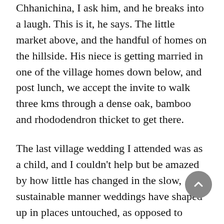Chhanichina, I ask him, and he breaks into a laugh. This is it, he says. The little market above, and the handful of homes on the hillside. His niece is getting married in one of the village homes down below, and post lunch, we accept the invite to walk three kms through a dense oak, bamboo and rhododendron thicket to get there.
The last village wedding I attended was as a child, and I couldn't help but be amazed by how little has changed in the slow, sustainable manner weddings have shaped up in places untouched, as opposed to urban spaces where they are nothing short of a pageantry. A small gathering, a simple spread of sweetmeats, your Sunday best that is totally okay to repeat, and a heartwarming welcome even for strangers. Most of all, everyone dances to the Choliya, a traditional Kumaoni ensemble of musicians and performers that is a rare sight today, unless it's a